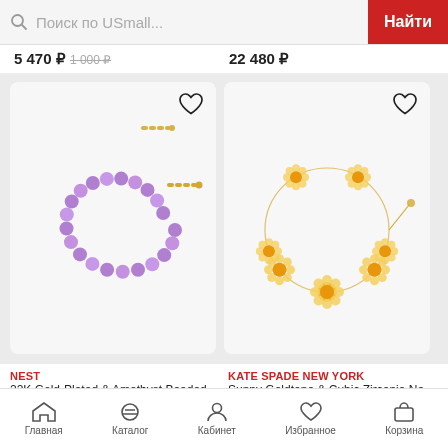Поиск по USmall...  Найти
5 470 ₽   1 000 ₽     22 480 ₽
[Figure (photo): Purple amethyst beaded bracelet with 22K gold-plated chain clasp on light gray background, with heart/favorite icon in top right corner]
[Figure (photo): Gold-tone daisy flower necklace with cubic zirconia on light gray background, with heart/favorite icon in top right corner]
NEST
22K Gold-Plated & Amethyst Beaded ...
KATE SPADE NEW YORK
Sunny Goldtone & Cubic Zirconia Nec...
Главная  Каталог  Кабинет  Избранное  Корзина